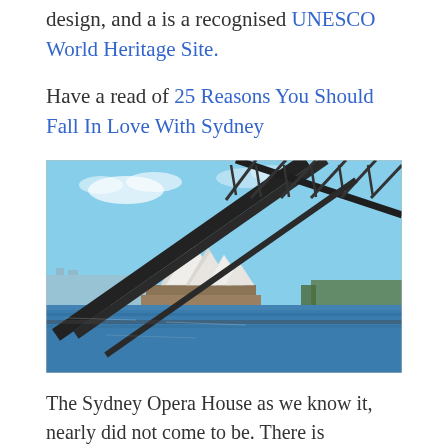design, and a is a recognised UNESCO World Heritage Site.
Have a read of 25 Reasons You Should Fall In Love With Sydney
[Figure (photo): Photograph of the Sydney Opera House viewed from the water, with the Sydney Harbour Bridge structure in the foreground/upper right, blue sky and harbour water visible.]
The Sydney Opera House as we know it, nearly did not come to be. There is